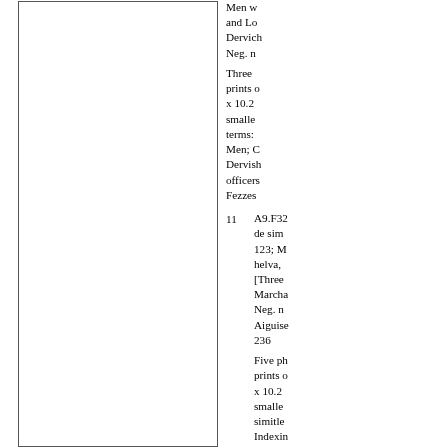[Figure (other): Large blank white rectangle with border, occupying left two-thirds of the page]
Men w... and Lo... Dervich... Neg. n...
Three prints c... x 10.2... smalle... terms: Men; C... Dervish... officers... Fezzes...
11   A9.F32... de sim... 123; M... helva,... [Three... Marcha... Neg. n... Aiguise... 236
Five ph... prints c... x 10.2... smalle... simitle... Indexin... Occup... Peddle... peddlin...